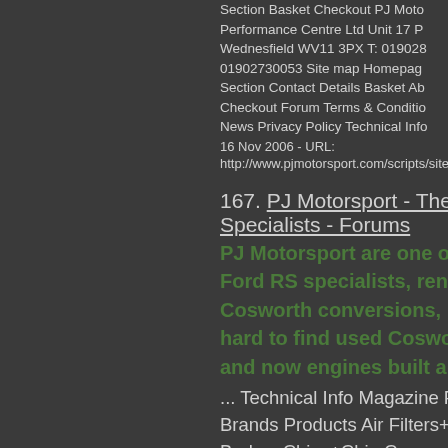Section Basket Checkout PJ Motorsport - The High Performance Centre Ltd Unit 17 P Wednesfield WV11 3PX T: 019028 01902730053 Site map Homepage Section Contact Details Basket Ab Checkout Forum Terms & Conditio News Privacy Policy Technical Info 16 Nov 2006  -  URL: http://www.pjmotorsport.com/scripts/sitema
167. PJ Motorsport - The High Per Specialists - Forums
PJ Motorsport are one of the coun Ford RS specialists, renowned for Cosworth conversions, performan hard to find used Cosworth and R and now engines built and dyno'e
... Technical Info Magazine Featur Brands Products Air Filters+Induct Brakes Chips+Chip Conversions Cooling+Coolant System Electrica Gaskets Engine-General Engine-F Sensors Engine-Specialist Exhaus Ignition Miscelloneous Styling Ext Interior Suspension Transmission- Tyres Homepage Site Map Conta